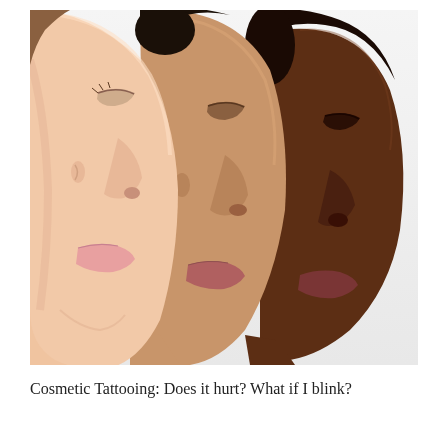[Figure (photo): Three women of different ethnicities shown in profile (side view), facing left. From back to front: a dark-skinned Black woman, an Asian woman with medium skin tone, and a light-skinned Caucasian woman. The image focuses on their facial profiles, particularly noses and lips, against a light grey/white background.]
Cosmetic Tattooing: Does it hurt? What if I blink?